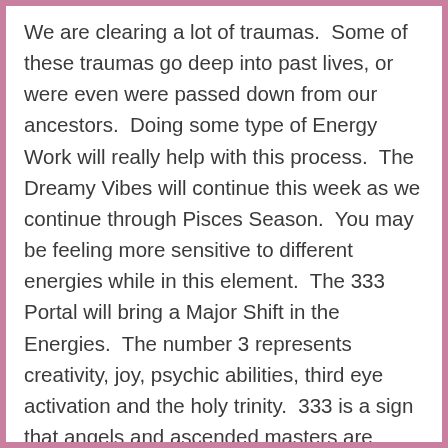We are clearing a lot of traumas.  Some of these traumas go deep into past lives, or were even were passed down from our ancestors.  Doing some type of Energy Work will really help with this process.  The Dreamy Vibes will continue this week as we continue through Pisces Season.  You may be feeling more sensitive to different energies while in this element.  The 333 Portal will bring a Major Shift in the Energies.  The number 3 represents creativity, joy, psychic abilities, third eye activation and the holy trinity.  333 is a sign that angels and ascended masters are guiding and assisting you with your ascension journey.  This Gateway is massive for Twin Flames and anyone in or coming into Divine Union.  This Gateway will also bring a major Shift for the Divine Masculine.  Pay attention to any messages you may be receiving from your angels.  If your